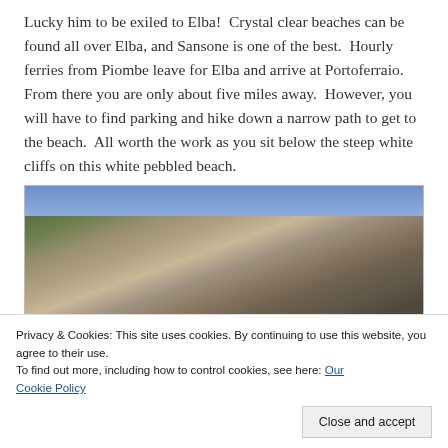Lucky him to be exiled to Elba!  Crystal clear beaches can be found all over Elba, and Sansone is one of the best.  Hourly ferries from Piombe leave for Elba and arrive at Portoferraio.  From there you are only about five miles away.  However, you will have to find parking and hike down a narrow path to get to the beach.  All worth the work as you sit below the steep white cliffs on this white pebbled beach.
[Figure (photo): Photograph of steep rocky cliffs with green vegetation against a cloudy sky (top), and a beach scene with blue umbrellas and turquoise water (bottom).]
Privacy & Cookies: This site uses cookies. By continuing to use this website, you agree to their use.
To find out more, including how to control cookies, see here: Our Cookie Policy